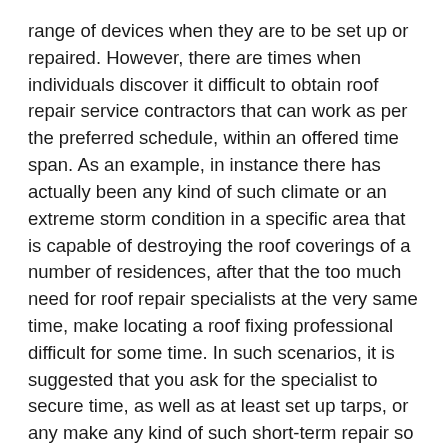range of devices when they are to be set up or repaired. However, there are times when individuals discover it difficult to obtain roof repair service contractors that can work as per the preferred schedule, within an offered time span. As an example, in instance there has actually been any kind of such climate or an extreme storm condition in a specific area that is capable of destroying the roof coverings of a number of residences, after that the too much need for roof repair specialists at the very same time, make locating a roof fixing professional difficult for some time. In such scenarios, it is suggested that you ask for the specialist to secure time, as well as at least set up tarps, or any make any kind of such short-term repair so as to quit the leak problems etc for some time till they are free to improvise the irreversible repair service job.
Roof Replacement & Inspection Services Greenwood,